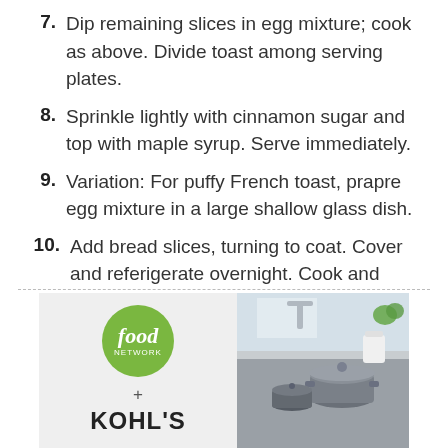7. Dip remaining slices in egg mixture; cook as above. Divide toast among serving plates.
8. Sprinkle lightly with cinnamon sugar and top with maple syrup. Serve immediately.
9. Variation: For puffy French toast, prapre egg mixture in a large shallow glass dish.
10. Add bread slices, turning to coat. Cover and referigerate overnight. Cook and serve as above.
[Figure (illustration): Food Network + Kohl's advertisement banner showing the Food Network logo (green circle with italic 'food network' text) on the left panel against a light background, a plus sign, and 'KOHL'S' bold text below. The right panel shows a kitchen scene with cookware/pots and kitchen fixtures.]